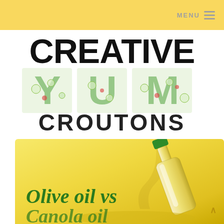MENU
CREATIVE YUM CROUTONS
[Figure (illustration): Bottom section showing olive oil being poured from a glass bottle against a yellow background, with green italic script text reading 'Olive oil vs']
Olive oil vs